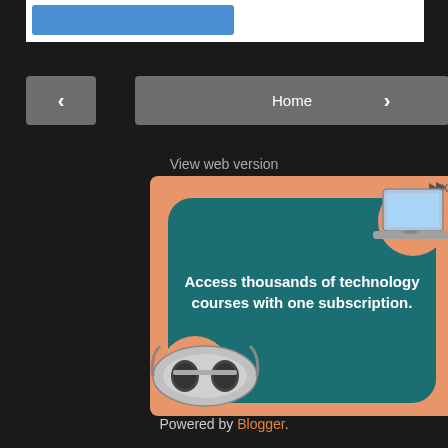[Figure (screenshot): Top portion of a web page with white content area and blue button, on dark background]
[Figure (screenshot): Navigation bar with left arrow button, Home button, and right arrow button on dark background]
View web version
[Figure (illustration): Advertisement banner: orange background with teal rounded rectangle, laptop and VR headset illustrations, text 'Access thousands of technology courses with one subscription.']
Powered by Blogger.